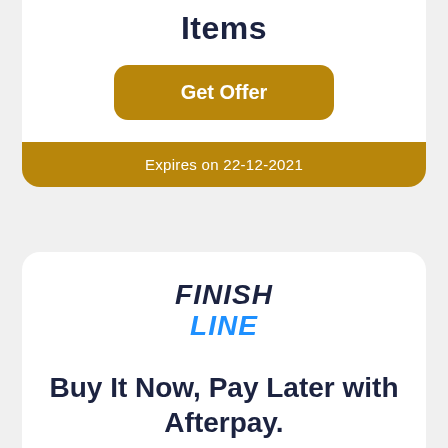Items
Get Offer
Expires on 22-12-2021
[Figure (logo): Finish Line logo with FINISH in dark navy bold italic and LINE in blue bold italic]
Buy It Now, Pay Later with Afterpay.